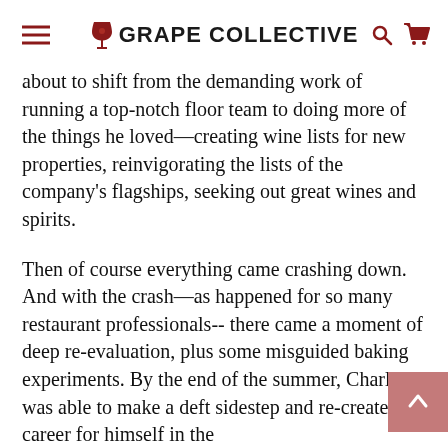GRAPE COLLECTIVE
about to shift from the demanding work of running a top-notch floor team to doing more of the things he loved—creating wine lists for new properties, reinvigorating the lists of the company's flagships, seeking out great wines and spirits.
Then of course everything came crashing down. And with the crash—as happened for so many restaurant professionals-- there came a moment of deep re-evaluation, plus some misguided baking experiments. By the end of the summer, Charles was able to make a deft sidestep and re-create a career for himself in the